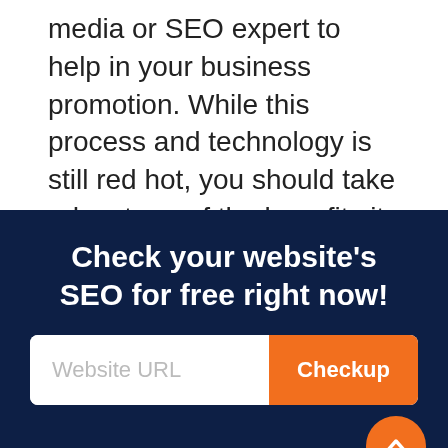media or SEO expert to help in your business promotion. While this process and technology is still red hot, you should take advantage of the benefits it offers.
Check your website's SEO for free right now!
[Figure (other): Website URL input field with orange Checkup button and orange scroll-to-top circular arrow button]